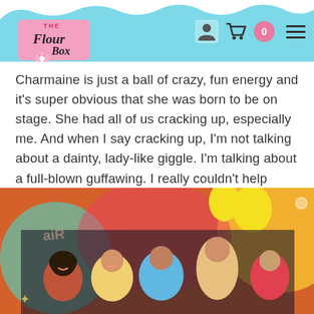[Figure (logo): The Flour Box logo - script text with flower icon on pink background]
Charmaine is just a ball of crazy, fun energy and it's super obvious that she was born to be on stage. She had all of us cracking up, especially me. And when I say cracking up, I'm not talking about a dainty, lady-like giggle. I'm talking about a full-blown guffawing. I really couldn't help myself.
[Figure (photo): Group of children and an adult performer on a colorful stage set with balloons and bright decorations. The performers are smiling and posing.]